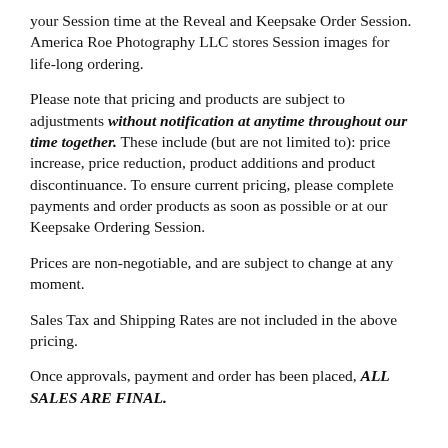your Session time at the Reveal and Keepsake Order Session. America Roe Photography LLC stores Session images for life-long ordering.
Please note that pricing and products are subject to adjustments without notification at anytime throughout our time together. These include (but are not limited to): price increase, price reduction, product additions and product discontinuance. To ensure current pricing, please complete payments and order products as soon as possible or at our Keepsake Ordering Session.
Prices are non-negotiable, and are subject to change at any moment.
Sales Tax and Shipping Rates are not included in the above pricing.
Once approvals, payment and order has been placed, ALL SALES ARE FINAL.